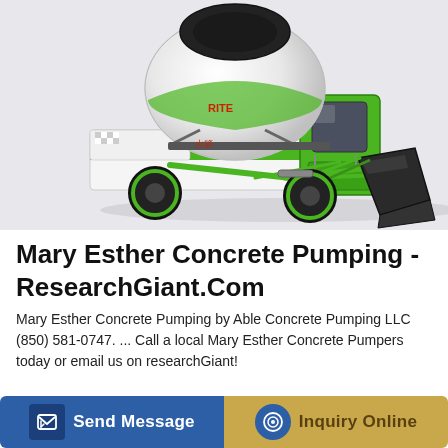[Figure (photo): A green and white self-loading concrete mixer truck with a large rotating drum on the back and a front-loading bucket/scoop, photographed against a light gray background.]
Mary Esther Concrete Pumping - ResearchGiant.Com
Mary Esther Concrete Pumping by Able Concrete Pumping LLC (850) 581-0747. ... Call a local Mary Esther Concrete Pumpers today or email us on researchGiant!